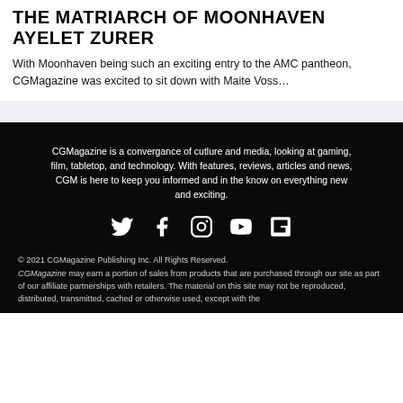THE MATRIARCH OF MOONHAVEN AYELET ZURER
With Moonhaven being such an exciting entry to the AMC pantheon, CGMagazine was excited to sit down with Maite Voss...
CGMagazine is a convergance of cutlure and media, looking at gaming, film, tabletop, and technology. With features, reviews, articles and news, CGM is here to keep you informed and in the know on everything new and exciting.
[Figure (infographic): Social media icons row: Twitter, Facebook, Instagram, YouTube, Flipboard — white icons on black background]
© 2021 CGMagazine Publishing Inc. All Rights Reserved. CGMagazine may earn a portion of sales from products that are purchased through our site as part of our affiliate partnerships with retailers. The material on this site may not be reproduced, distributed, transmitted, cached or otherwise used, except with the